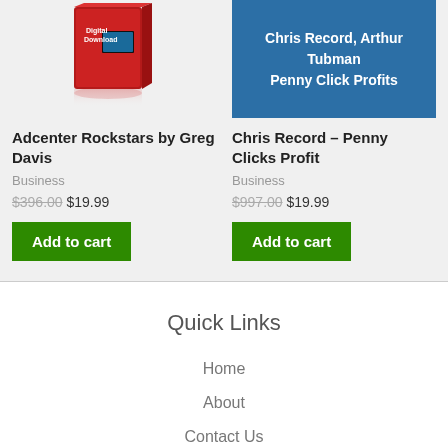[Figure (photo): Red digital download box product image with reflection]
Adcenter Rockstars by Greg Davis
Business
$396.00 $19.99
Add to cart
[Figure (photo): Blue book cover: Chris Record, Arthur Tubman - Penny Click Profits]
Chris Record – Penny Clicks Profit
Business
$997.00 $19.99
Add to cart
Quick Links
Home
About
Contact Us